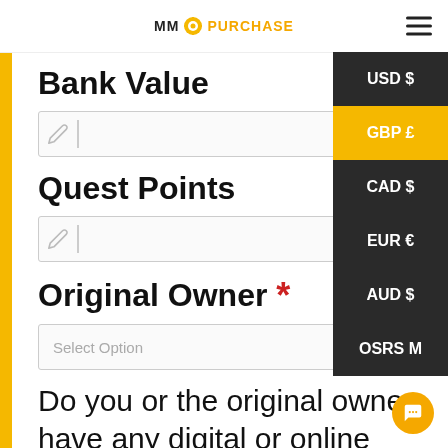MM PURCHASE
Bank Value
[Figure (screenshot): Text input field with pencil icon]
Quest Points
[Figure (screenshot): Text input field with pencil icon]
Original Owner *
[Figure (screenshot): Select Option dropdown field]
[Figure (infographic): Currency dropdown menu with options: USD $, GBP £ (selected/highlighted), CAD $, EUR €, AUD $, OSRS M]
Do you or the original owner have any digital or online reputation/vouches that